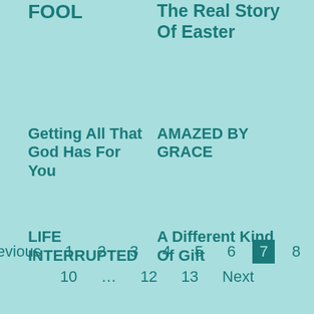FOOL
The Real Story Of Easter
Getting All That God Has For You
AMAZED BY GRACE
LIFE INTERRUPTED
A Different Kind Of Gift
Previous 1 2 3 4 5 6 7 8 9 10 … 12 13 Next